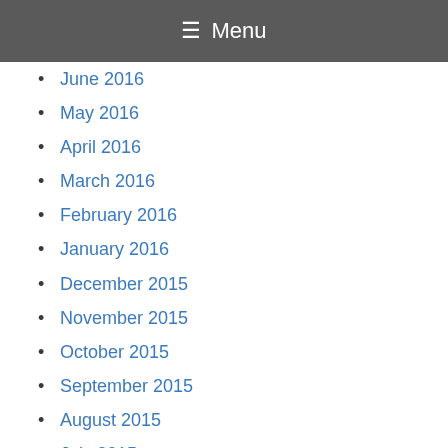≡ Menu
June 2016
May 2016
April 2016
March 2016
February 2016
January 2016
December 2015
November 2015
October 2015
September 2015
August 2015
July 2015
June 2015
May 2015
April 2015
March 2015
February 2015
January 2015
December 2014
November 2014
October 2014